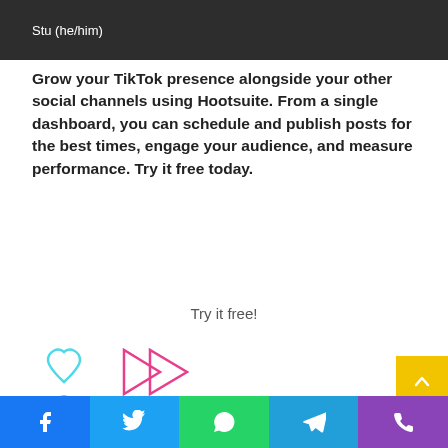[Figure (screenshot): Dark banner with text 'Stu (he/him)' on dark background, partial top of a webpage header]
Grow your TikTok presence alongside your other social channels using Hootsuite. From a single dashboard, you can schedule and publish posts for the best times, engage your audience, and measure performance. Try it free today.
Try it free!
[Figure (illustration): Colorful outline icons: a cyan heart, pink double-play arrows, yellow camera/video icon, yellow circle, cyan circle — TikTok-style social media illustration]
[Figure (infographic): Social share bar with Facebook, Twitter, WhatsApp, Telegram, and phone icons on colored backgrounds]